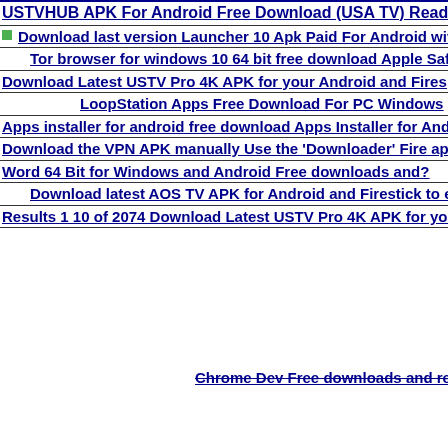USTVHUB APK For Android Free Download (USA TV) Read M
Download last version Launcher 10 Apk Paid For Android with
Tor browser for windows 10 64 bit free download Apple Safari
Download Latest USTV Pro 4K APK for your Android and Fires
LoopStation Apps Free Download For PC Windows
Apps installer for android free download Apps Installer for Andr
Download the VPN APK manually Use the 'Downloader' Fire ap
Word 64 Bit for Windows and Android Free downloads and?
Download latest AOS TV APK for Android and Firestick to em
Results 1 10 of 2074 Download Latest USTV Pro 4K APK for you
Chrome Dev Free downloads and reviews